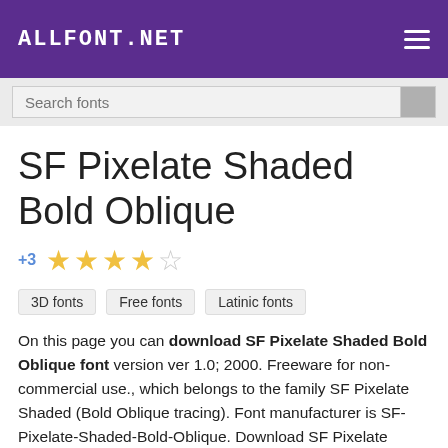ALLFONT.NET
SF Pixelate Shaded Bold Oblique
+3  ★★★★☆
3D fonts
Free fonts
Latinic fonts
On this page you can download SF Pixelate Shaded Bold Oblique font version ver 1.0; 2000. Freeware for non-commercial use., which belongs to the family SF Pixelate Shaded (Bold Oblique tracing). Font manufacturer is SF-Pixelate-Shaded-Bold-Oblique. Download SF Pixelate Shaded Bold Oblique for free on